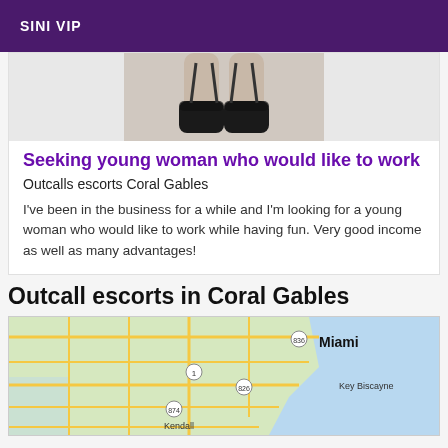SINI VIP
[Figure (photo): Cropped photo showing legs in black stockings/lingerie against white background]
Seeking young woman who would like to work
Outcalls escorts Coral Gables
I've been in the business for a while and I'm looking for a young woman who would like to work while having fun. Very good income as well as many advantages!
Outcall escorts in Coral Gables
[Figure (map): Google map showing Miami area including Miami, Key Biscayne, Kendall, and surrounding roads and waterways]